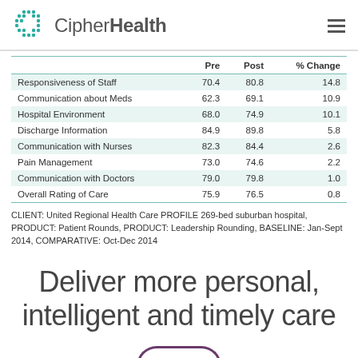CipherHealth
|  | Pre | Post | % Change |
| --- | --- | --- | --- |
| Responsiveness of Staff | 70.4 | 80.8 | 14.8 |
| Communication about Meds | 62.3 | 69.1 | 10.9 |
| Hospital Environment | 68.0 | 74.9 | 10.1 |
| Discharge Information | 84.9 | 89.8 | 5.8 |
| Communication with Nurses | 82.3 | 84.4 | 2.6 |
| Pain Management | 73.0 | 74.6 | 2.2 |
| Communication with Doctors | 79.0 | 79.8 | 1.0 |
| Overall Rating of Care | 75.9 | 76.5 | 0.8 |
CLIENT: United Regional Health Care PROFILE 269-bed suburban hospital, PRODUCT: Patient Rounds, PRODUCT: Leadership Rounding, BASELINE: Jan-Sept 2014, COMPARATIVE: Oct-Dec 2014
Deliver more personal, intelligent and timely care